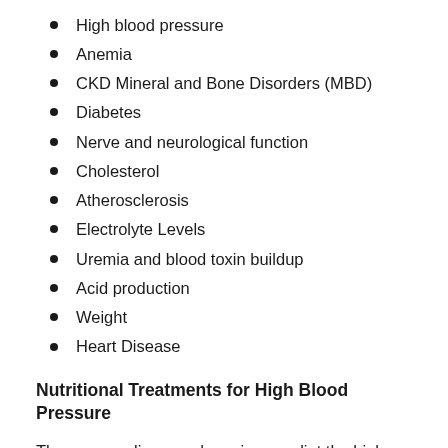High blood pressure
Anemia
CKD Mineral and Bone Disorders (MBD)
Diabetes
Nerve and neurological function
Cholesterol
Atherosclerosis
Electrolyte Levels
Uremia and blood toxin buildup
Acid production
Weight
Heart Disease
Nutritional Treatments for High Blood Pressure
The more sodium you have in your diet the higher your blood pressure will be. This is because the kidneys cannot